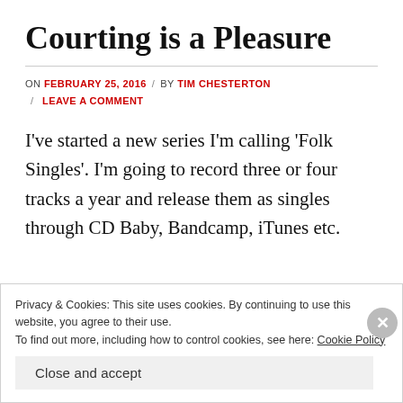Courting is a Pleasure
ON FEBRUARY 25, 2016 / BY TIM CHESTERTON / LEAVE A COMMENT
I’ve started a new series I’m calling ‘Folk Singles’. I’m going to record three or four tracks a year and release them as singles through CD Baby, Bandcamp, iTunes etc.
Privacy & Cookies: This site uses cookies. By continuing to use this website, you agree to their use.
To find out more, including how to control cookies, see here: Cookie Policy
Close and accept